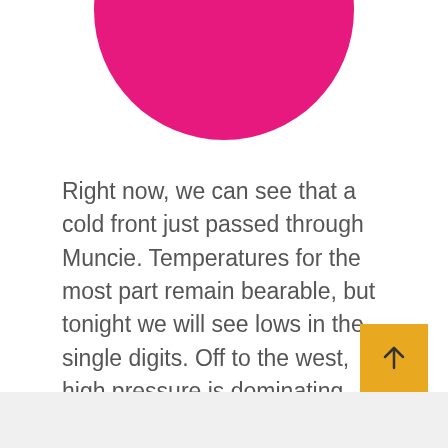[Figure (illustration): Partial pink/magenta circle visible at the top center of the page, cropped so only the bottom half is visible]
Right now, we can see that a cold front just passed through Muncie. Temperatures for the most part remain bearable, but tonight we will see lows in the single digits. Off to the west, high pressure is dominating with clear skies and still colder temperatures. Right now, temperatures for them are in the 20s and 30s. Even southern areas in Georgia and Florida are sitting in the 40s. We can say that across the board we are cold throughout the entire US right now!